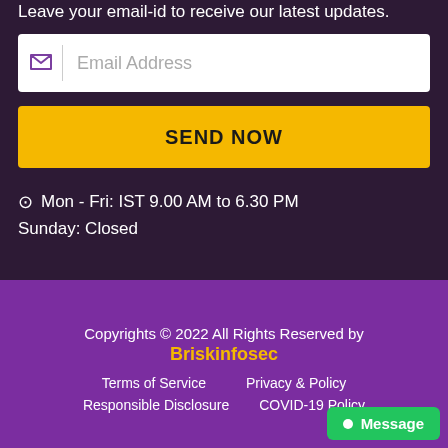Leave your email-id to receive our latest updates.
Email Address
SEND NOW
Mon - Fri: IST 9.00 AM to 6.30 PM
Sunday: Closed
Copyrights © 2022 All Rights Reserved by Briskinfosec
Terms of Service   Privacy & Policy
Responsible Disclosure   COVID-19 Policy